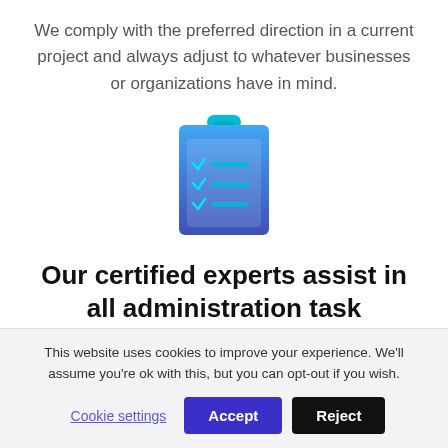We comply with the preferred direction in a current project and always adjust to whatever businesses or organizations have in mind.
[Figure (illustration): Clipboard icon with checkmarks and teal lines on a blue/purple gradient background]
Our certified experts assist in all administration task
This website uses cookies to improve your experience. We'll assume you're ok with this, but you can opt-out if you wish.
Cookie settings  Accept  Reject